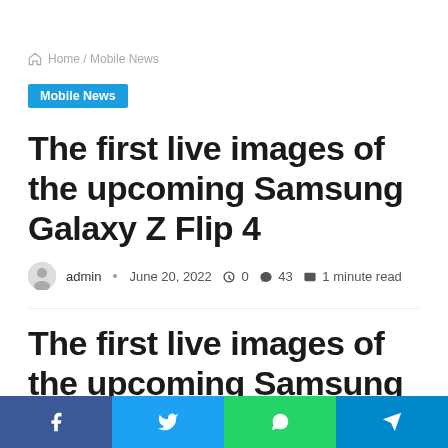Home / Mobile News
Mobile News
The first live images of the upcoming Samsung Galaxy Z Flip 4
admin · June 20, 2022 · 0 · 43 · 1 minute read
The first live images of the upcoming Samsung Galaxy Z
Facebook · Twitter · WhatsApp · Telegram